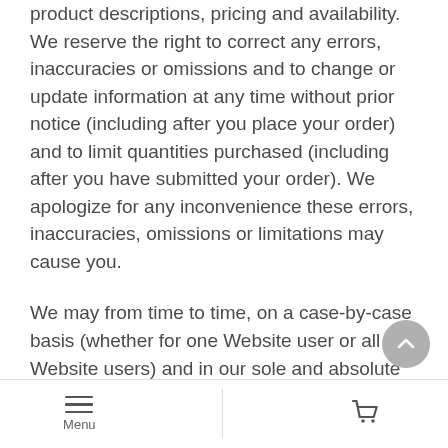product descriptions, pricing and availability. We reserve the right to correct any errors, inaccuracies or omissions and to change or update information at any time without prior notice (including after you place your order) and to limit quantities purchased (including after you have submitted your order). We apologize for any inconvenience these errors, inaccuracies, omissions or limitations may cause you.
We may from time to time, on a case-by-case basis (whether for one Website user or all Website users) and in our sole and absolute discretion, waive the restrictions set forth in these Terms of Use or extend the deadlines set forth in these Terms of Use, as we determine appropriate. Any such action shall be deemed a waiver and not an amendment to these Terms of Use. We reserve the right to change, amend,
Menu